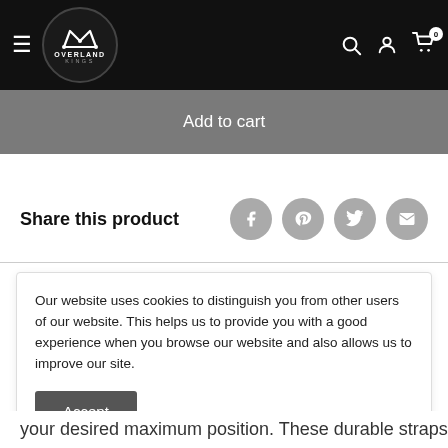Overland Kings navigation bar with hamburger menu, logo, search, account, and cart icons
Add to cart
Share this product
Our website uses cookies to distinguish you from other users of our website. This helps us to provide you with a good experience when you browse our website and also allows us to improve our site.
Accept
your desired maximum position. These durable straps